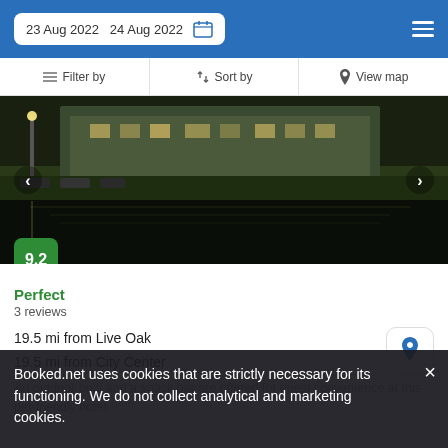23 Aug 2022  24 Aug 2022
Filter by  Sort by  View map
[Figure (photo): Night photo of a hotel building with water reflection in the foreground, score badge showing 9.2]
Perfect
3 reviews
19.5 mi from Live Oak
19.5 mi from City Center
An outdoor pool and a snack bar are offered for guest convenience at this pet-friendly hotel.
Booked.net uses cookies that are strictly necessary for its functioning. We do not collect analytical and marketing cookies.